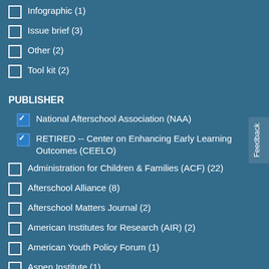Infographic (1)
Issue brief (3)
Other (2)
Tool kit (2)
PUBLISHER
National Afterschool Association (NAA) [checked]
RETIRED -- Center on Enhancing Early Learning Outcomes (CEELO) [checked]
Administration for Children & Families (ACF) (22)
Afterschool Alliance (8)
Afterschool Matters Journal (2)
American Institutes for Research (AIR) (2)
American Youth Policy Forum (1)
Aspen Institute (1)
Bipartisan Policy Center (2)
BUILD, QRIS National Learning Network (3)
Child Care Aware of America (1)
Child Trends (8)
Collaborative Communications (2)